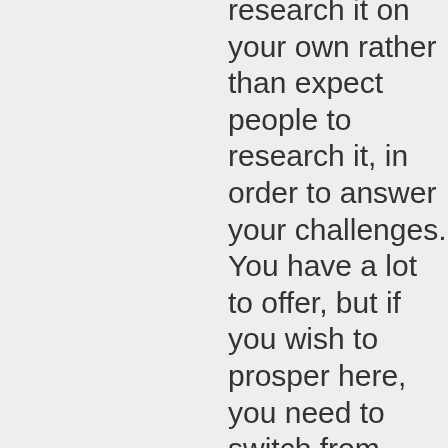research it on your own rather than expect people to research it, in order to answer your challenges. You have a lot to offer, but if you wish to prosper here, you need to switch from challenging to teaching.